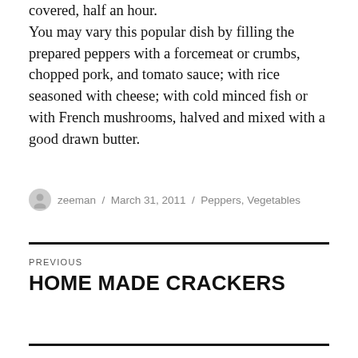covered, half an hour.
You may vary this popular dish by filling the prepared peppers with a forcemeat or crumbs, chopped pork, and tomato sauce; with rice seasoned with cheese; with cold minced fish or with French mushrooms, halved and mixed with a good drawn butter.
zeeman / March 31, 2011 / Peppers, Vegetables
PREVIOUS
HOME MADE CRACKERS